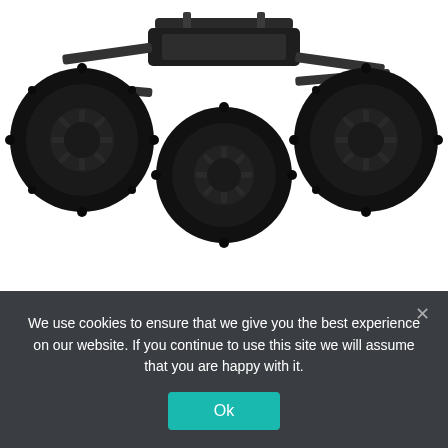[Figure (photo): Bottom portion of an RC monster truck (Arrma Granite Voltage) showing four large black knobby tires and the chassis from below, white background]
Arrma Granite Voltage ARA102727T3
Brushed 1/10 monster truck 2WD RTR
Price level: USD 120
We use cookies to ensure that we give you the best experience on our website. If you continue to use this site we will assume that you are happy with it.